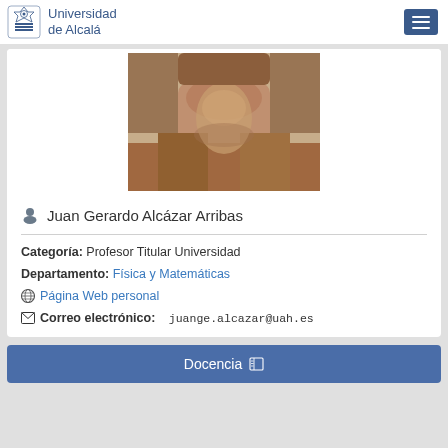Universidad de Alcalá
[Figure (photo): Profile photo of Juan Gerardo Alcázar Arribas, showing neck and lower face, brownish tones]
Juan Gerardo Alcázar Arribas
Categoría: Profesor Titular Universidad
Departamento: Física y Matemáticas
Página Web personal
Correo electrónico: juange.alcazar@uah.es
Docencia